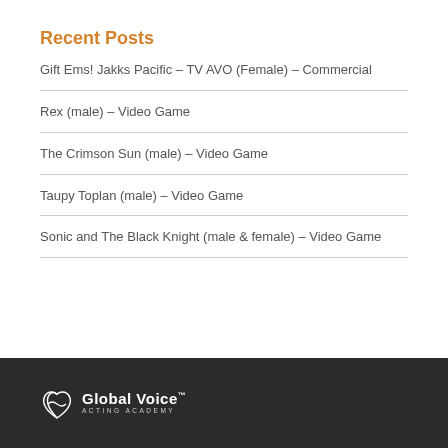Recent Posts
Gift Ems! Jakks Pacific – TV AVO (Female) – Commercial
Rex (male) – Video Game
The Crimson Sun (male) – Video Game
Taupy Toplan (male) – Video Game
Sonic and The Black Knight (male & female) – Video Game
Global Voice™ ACTING ACADEMY